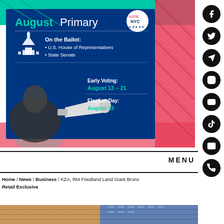[Figure (infographic): August Primary election infographic showing: On the Ballot: U.S. House of Representatives, State Senate. Early Voting: August 13-21. Election Day: August 23. Features VOTE NYC badge, Capitol building icon, and woman with megaphone.]
MENU
Home / News / Business / KZA, RM Friedland Land Giant Bronx Retail Exclusive
[Figure (photo): Bottom portion of a building exterior photo, showing brick facade.]